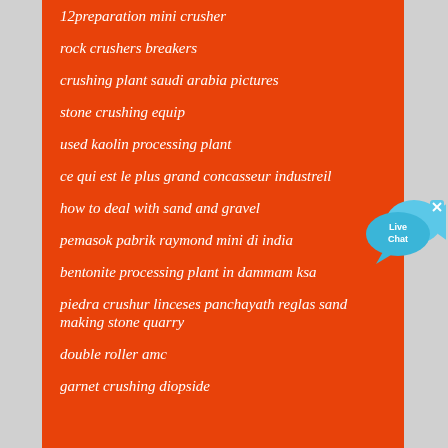12preparation mini crusher
rock crushers breakers
crushing plant saudi arabia pictures
stone crushing equip
used kaolin processing plant
ce qui est le plus grand concasseur industreil
[Figure (illustration): Live Chat button with blue speech bubble and fish icon]
how to deal with sand and gravel
pemasok pabrik raymond mini di india
bentonite processing plant in dammam ksa
piedra crushur linceses panchayath reglas sand making stone quarry
double roller amc
garnet crushing diopside